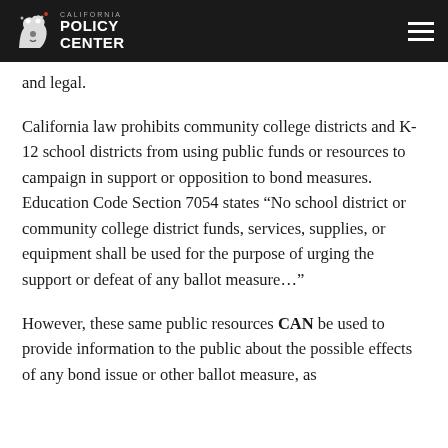California Policy Center
and legal.
California law prohibits community college districts and K-12 school districts from using public funds or resources to campaign in support or opposition to bond measures. Education Code Section 7054 states “No school district or community college district funds, services, supplies, or equipment shall be used for the purpose of urging the support or defeat of any ballot measure…”
However, these same public resources CAN be used to provide information to the public about the possible effects of any bond issue or other ballot measure, as